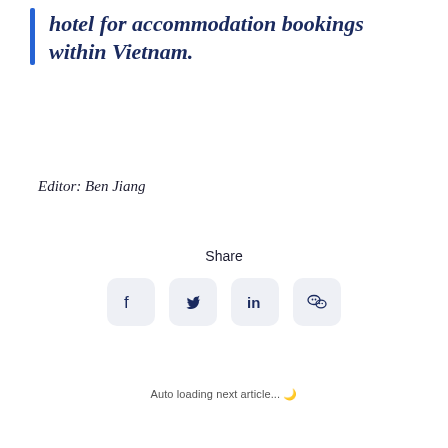hotel for accommodation bookings within Vietnam.
Editor: Ben Jiang
Share
[Figure (infographic): Four social media share buttons: Facebook, Twitter, LinkedIn, WeChat — each in a light grey rounded square.]
Auto loading next article... 🌙